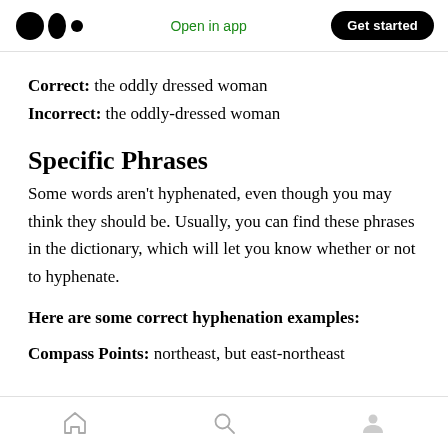Medium app header with logo, Open in app, Get started
Correct: the oddly dressed woman
Incorrect: the oddly-dressed woman
Specific Phrases
Some words aren't hyphenated, even though you may think they should be. Usually, you can find these phrases in the dictionary, which will let you know whether or not to hyphenate.
Here are some correct hyphenation examples:
Compass Points: northeast, but east-northeast
Bottom navigation bar with home, search, profile icons